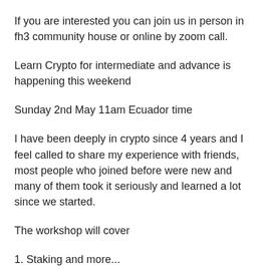If you are interested you can join us in person in fh3 community house or online by zoom call.
Learn Crypto for intermediate and advance is happening this weekend
Sunday 2nd May 11am Ecuador time
I have been deeply in crypto since 4 years and I feel called to share my experience with friends, most people who joined before were new and many of them took it seriously and learned a lot since we started.
The workshop will cover
1. Staking and more...